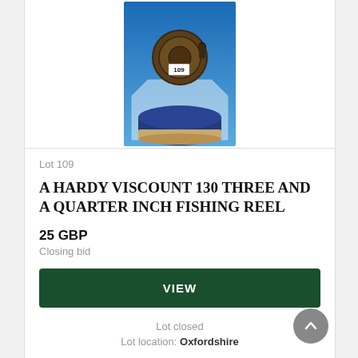[Figure (photo): A Hardy Viscount 130 fishing reel (lot 109) shown above a blue circular tin/case, photographed against a blue gradient background on a clear display stand. The reel has a white label reading '109'.]
Lot 109
A HARDY VISCOUNT 130 THREE AND A QUARTER INCH FISHING REEL
25 GBP
Closing bid
VIEW
Lot closed
Lot location: Oxfordshire